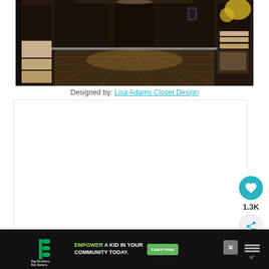[Figure (photo): Interior photo of a luxury walk-in closet with dark wood cabinetry, drawers, open shelving, and hardwood floors with under-cabinet lighting.]
Designed by: Lisa Adams Closet Design
[Figure (other): White advertisement placeholder box with social interaction buttons: a teal heart/like button showing 1.3K count, and a share button.]
[Figure (other): Bottom advertisement bar: Big Brothers Big Sisters of America logo on left, green ad for 'EMPOWER A KID IN YOUR COMMUNITY TODAY.' with 'Learn How' button, close X button, and weather icon on right.]